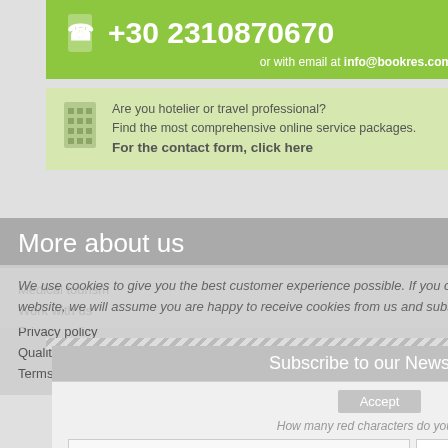+30 2310870670
or with email at info@bookres.com
Are you hotelier or travel professional? Find the most comprehensive online service packages. For the contact form, click here
More about us
Medical tourism
Work with us
Privacy policy
Quality Policy
Terms of use
We use cookies to give you the best customer experience possible. If you continue to use our website, we will assume you are happy to receive cookies from us and subscribers.
Subscribe to our Newsletter
Accept
How many red characters do you see?
Elati Pertouli
Kaimaktsala
Kerkini Lake
Metsovo
Pelion
Tzoumerka
Zagorochoria